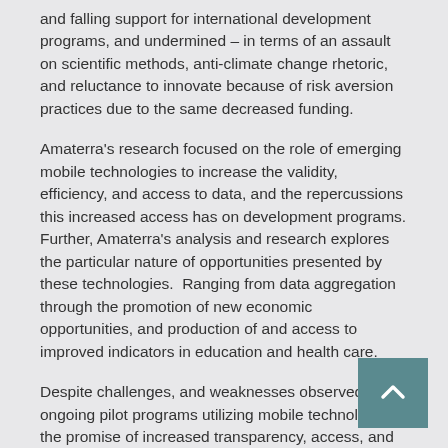and falling support for international development programs, and undermined – in terms of an assault on scientific methods, anti-climate change rhetoric, and reluctance to innovate because of risk aversion practices due to the same decreased funding.
Amaterra's research focused on the role of emerging mobile technologies to increase the validity, efficiency, and access to data, and the repercussions this increased access has on development programs. Further, Amaterra's analysis and research explores the particular nature of opportunities presented by these technologies.  Ranging from data aggregation through the promotion of new economic opportunities, and production of and access to improved indicators in education and health care.
Despite challenges, and weaknesses observed in ongoing pilot programs utilizing mobile technologies, the promise of increased transparency, access, and